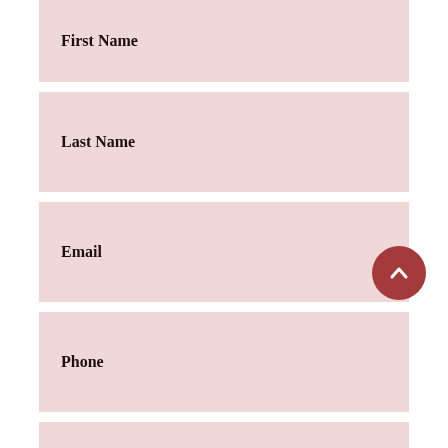First Name
Last Name
Email
Phone
Address
[Figure (illustration): A dark red circular scroll-to-top button with a white upward chevron/caret arrow icon, positioned at the right side overlapping the Phone and Address fields.]